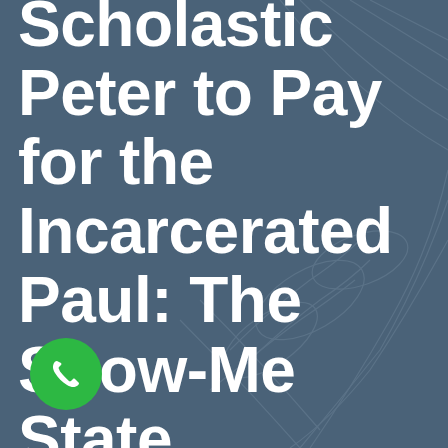Scholastic Peter to Pay for the Incarcerated Paul: The Show-Me State Showing Its Mulishness (3)
[Figure (illustration): Green circular phone/call button icon at bottom left]